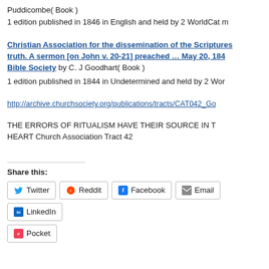Puddicombe( Book )
1 edition published in 1846 in English and held by 2 WorldCat m
Christian Association for the dissemination of the Scriptures truth. A sermon [on John v. 20-21] preached … May 20, 184 Bible Society by C. J Goodhart( Book )
1 edition published in 1844 in Undetermined and held by 2 Wor
http://archive.churchsociety.org/publications/tracts/CAT042_Go
THE ERRORS OF RITUALISM HAVE THEIR SOURCE IN T HEART Church Association Tract 42
Share this:
Twitter  Reddit  Facebook  Email  LinkedIn  Pocket